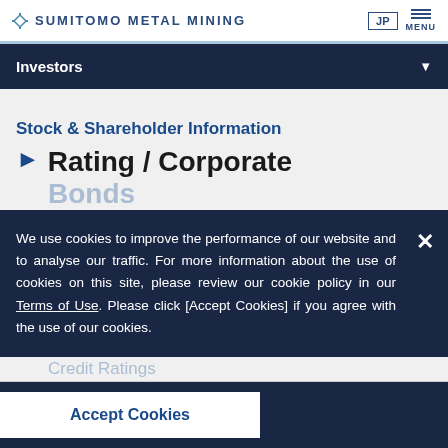SUMITOMO METAL MINING — JP | MENU
Investors
Stock & Shareholder Information
Rating / Corporate Bonds
We use cookies to improve the performance of our website and to analyse our traffic. For more information about the use of cookies on this site, please review our cookie policy in our Terms of Use. Please click [Accept Cookies] if you agree with the use of our cookies.
Credit Ratings
| Rating agency | Long Term | Short |
| --- | --- | --- |